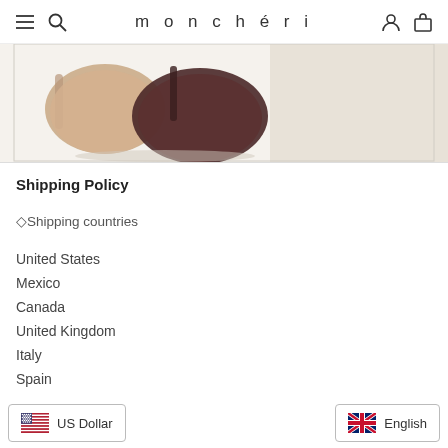monchéri
[Figure (photo): Partial view of leather handbags — a tan/nude bag on the left and a dark brown/burgundy bag on the right, against a light beige background.]
Shipping Policy
◇Shipping countries
United States
Mexico
Canada
United Kingdom
Italy
Spain
US Dollar | English